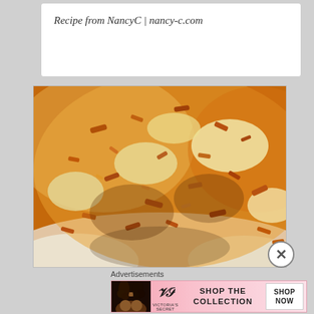Recipe from NancyC | nancy-c.com
[Figure (photo): Close-up photo of a baked casserole dish with golden-brown crispy cornflake topping over a creamy base, likely a potato or hash brown casserole.]
Advertisements
[Figure (infographic): Victoria's Secret advertisement banner with pink gradient background, a woman model on the left, the Victoria's Secret logo and name in the center-left, 'SHOP THE COLLECTION' text in the middle, and a white 'SHOP NOW' button on the right.]